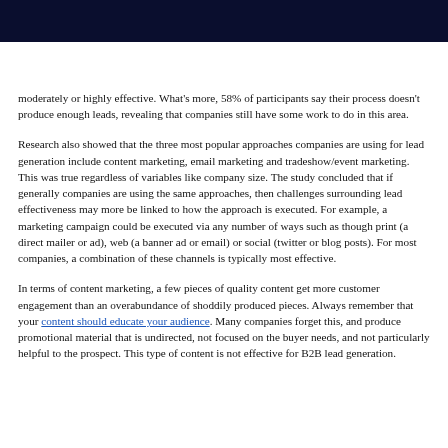moderately or highly effective. What's more, 58% of participants say their process doesn't produce enough leads, revealing that companies still have some work to do in this area.
Research also showed that the three most popular approaches companies are using for lead generation include content marketing, email marketing and tradeshow/event marketing. This was true regardless of variables like company size. The study concluded that if generally companies are using the same approaches, then challenges surrounding lead effectiveness may more be linked to how the approach is executed. For example, a marketing campaign could be executed via any number of ways such as though print (a direct mailer or ad), web (a banner ad or email) or social (twitter or blog posts). For most companies, a combination of these channels is typically most effective.
In terms of content marketing, a few pieces of quality content get more customer engagement than an overabundance of shoddily produced pieces. Always remember that your content should educate your audience. Many companies forget this, and produce promotional material that is undirected, not focused on the buyer needs, and not particularly helpful to the prospect. This type of content is not effective for B2B lead generation.